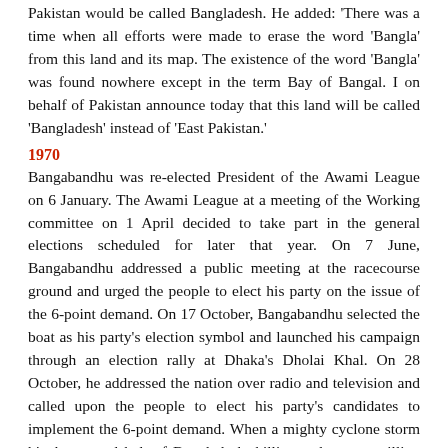Pakistan would be called Bangladesh. He added: 'There was a time when all efforts were made to erase the word 'Bangla' from this land and its map. The existence of the word 'Bangla' was found nowhere except in the term Bay of Bangal. I on behalf of Pakistan announce today that this land will be called 'Bangladesh' instead of 'East Pakistan.'
1970
Bangabandhu was re-elected President of the Awami League on 6 January. The Awami League at a meeting of the Working committee on 1 April decided to take part in the general elections scheduled for later that year. On 7 June, Bangabandhu addressed a public meeting at the racecourse ground and urged the people to elect his party on the issue of the 6-point demand. On 17 October, Bangabandhu selected the boat as his party's election symbol and launched his campaign through an election rally at Dhaka's Dholai Khal. On 28 October, he addressed the nation over radio and television and called upon the people to elect his party's candidates to implement the 6-point demand. When a mighty cyclone storm hit the coastal belt of Bangladesh, killing at lest one million people, Bangabandhu suspended his election campaign and rushed to the aid of the helpless people in the affected areas.